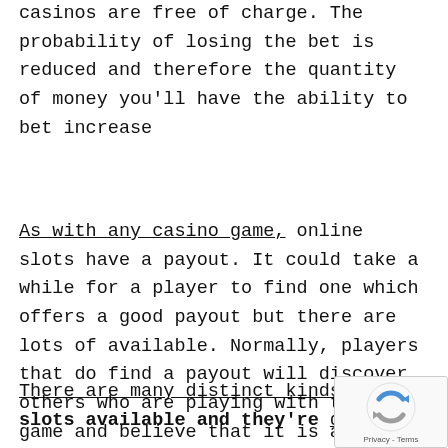casinos are free of charge. The probability of losing the bet is reduced and therefore the quantity of money you'll have the ability to bet increase
As with any casino game, online slots have a payout. It could take a while for a player to find one which offers a good payout but there are lots of available. Normally, players that do find a payout will discover others who are playing with this game and believe that it is a way to earn some money for entertainmen
There are many distinct kinds of slots available and they're divided
[Figure (other): reCAPTCHA widget with spinning arrows logo and Privacy - Terms text]